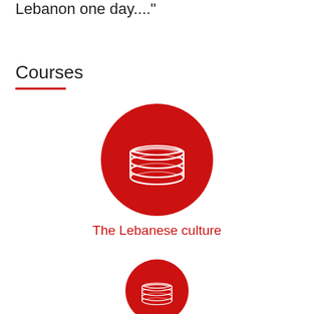Lebanon one day...."
Courses
[Figure (illustration): Red circle with white stacked books/layers icon representing The Lebanese culture course]
The Lebanese culture
[Figure (illustration): Red circle with white stacked books/layers icon, partially visible at bottom of page]